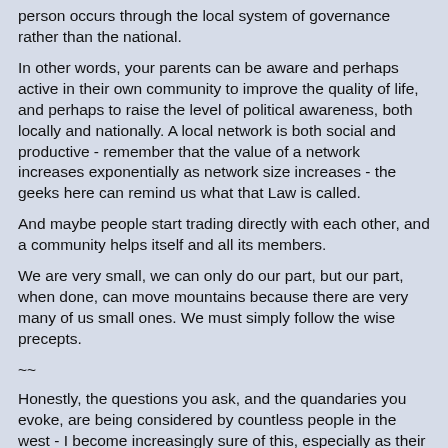person occurs through the local system of governance rather than the national.
In other words, your parents can be aware and perhaps active in their own community to improve the quality of life, and perhaps to raise the level of political awareness, both locally and nationally. A local network is both social and productive - remember that the value of a network increases exponentially as network size increases - the geeks here can remind us what that Law is called.
And maybe people start trading directly with each other, and a community helps itself and all its members.
We are very small, we can only do our part, but our part, when done, can move mountains because there are very many of us small ones. We must simply follow the wise precepts.
~~
Honestly, the questions you ask, and the quandaries you evoke, are being considered by countless people in the west - I become increasingly sure of this, especially as their pondering bursts into written form as yours has in the discussion thread.
~~